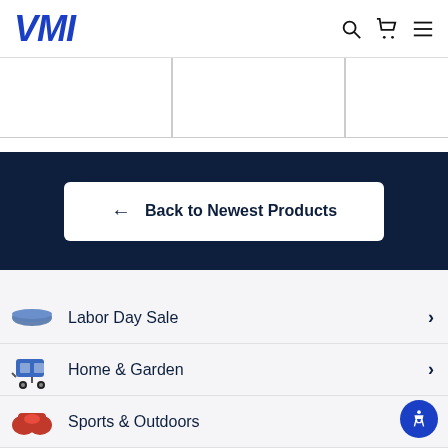VMI
[Figure (screenshot): Partial product grid with 3 empty white cells separated by light gray borders]
← Back to Newest Products
Labor Day Sale
Home & Garden
Sports & Outdoors